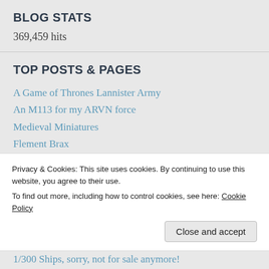BLOG STATS
369,459 hits
TOP POSTS & PAGES
A Game of Thrones Lannister Army
An M113 for my ARVN force
Medieval Miniatures
Flement Brax
The complete Stark Army
U-boat typ VII C for Cruel Seas in 1/300
One-Hour Skirmish Wargames in Vietnam
A Game of Thrones Stark Army
Privacy & Cookies: This site uses cookies. By continuing to use this website, you agree to their use.
To find out more, including how to control cookies, see here: Cookie Policy
Close and accept
1/300 Ships, sorry, not for sale anymore!